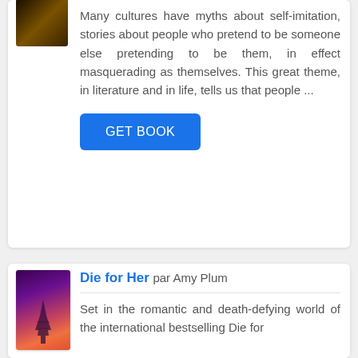[Figure (illustration): Book cover thumbnail with dark golden/brown tones, partially visible at top of first card]
Many cultures have myths about self-imitation, stories about people who pretend to be someone else pretending to be them, in effect masquerading as themselves. This great theme, in literature and in life, tells us that people ...
GET BOOK
[Figure (illustration): Book cover for 'Die for Her' by Amy Plum, showing Eiffel Tower at sunset with purple and orange sky]
Die for Her par Amy Plum
Set in the romantic and death-defying world of the international bestselling Die for